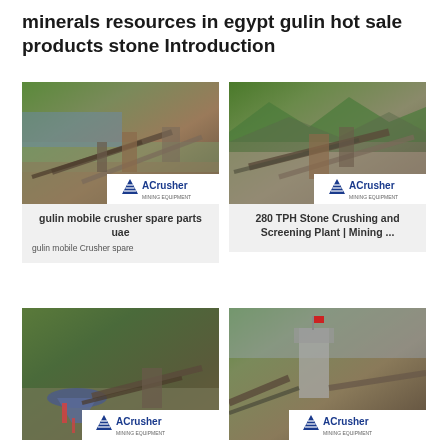minerals resources in egypt gulin hot sale products stone Introduction
[Figure (photo): Industrial mining site with conveyor belts and water body in background, ACrusher Mining Equipment logo]
[Figure (photo): Stone crushing plant with conveyor belts and mountain backdrop, ACrusher Mining Equipment logo]
gulin mobile crusher spare parts uae
gulin mobile Crusher spare
280 TPH Stone Crushing and Screening Plant | Mining ...
[Figure (photo): Aerial view of cone crusher and conveyor equipment at mining site, ACrusher Mining Equipment logo]
[Figure (photo): Mining plant facility with tower structure and conveyor systems, ACrusher Mining Equipment logo]